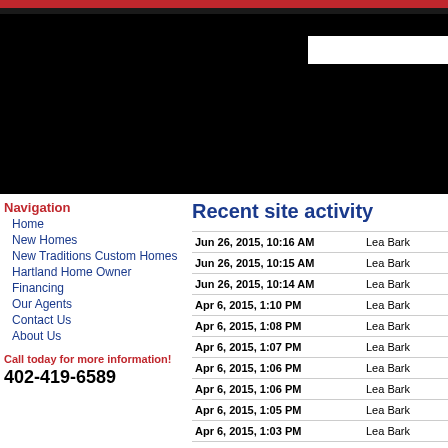Header banner with red and black bars and black main area
Navigation
Home
New Homes
New Traditions Custom Homes
Hartland Home Owner
Financing
Our Agents
Contact Us
About Us
Call today for more information!
402-419-6589
Recent site activity
| Date | User |
| --- | --- |
| Jun 26, 2015, 10:16 AM | Lea Bark |
| Jun 26, 2015, 10:15 AM | Lea Bark |
| Jun 26, 2015, 10:14 AM | Lea Bark |
| Apr 6, 2015, 1:10 PM | Lea Bark |
| Apr 6, 2015, 1:08 PM | Lea Bark |
| Apr 6, 2015, 1:07 PM | Lea Bark |
| Apr 6, 2015, 1:06 PM | Lea Bark |
| Apr 6, 2015, 1:06 PM | Lea Bark |
| Apr 6, 2015, 1:05 PM | Lea Bark |
| Apr 6, 2015, 1:03 PM | Lea Bark |